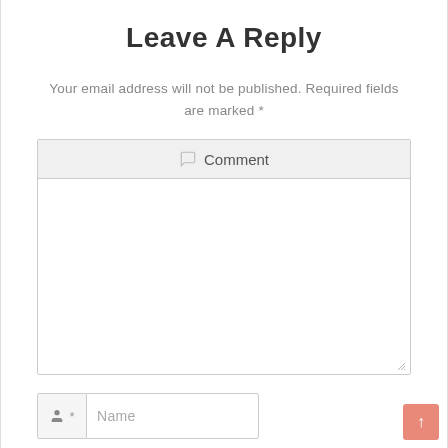Leave A Reply
Your email address will not be published. Required fields are marked *
[Figure (screenshot): Comment form with a header bar showing a speech bubble icon and 'Comment' label, followed by a large empty textarea with a resize handle, and a Name input field below with a person icon.]